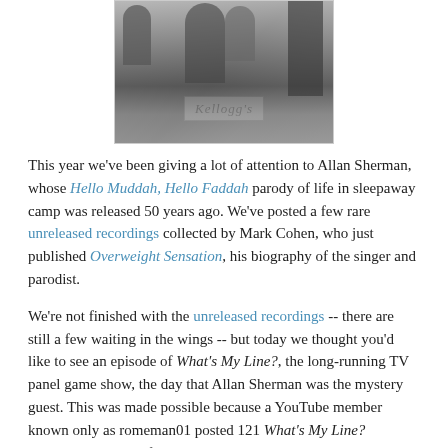[Figure (photo): Black and white photograph of people on the set of a TV game show with a Kellogg's branded podium/desk visible in the foreground.]
This year we've been giving a lot of attention to Allan Sherman, whose Hello Muddah, Hello Faddah parody of life in sleepaway camp was released 50 years ago. We've posted a few rare unreleased recordings collected by Mark Cohen, who just published Overweight Sensation, his biography of the singer and parodist.
We're not finished with the unreleased recordings -- there are still a few waiting in the wings -- but today we thought you'd like to see an episode of What's My Line?, the long-running TV panel game show, the day that Allan Sherman was the mystery guest. This was made possible because a YouTube member known only as romeman01 posted 121 What's My Line? episodes last week, for which we thank him.
Sherman was the mystery guest on the March 15, 1964, episode of the popular